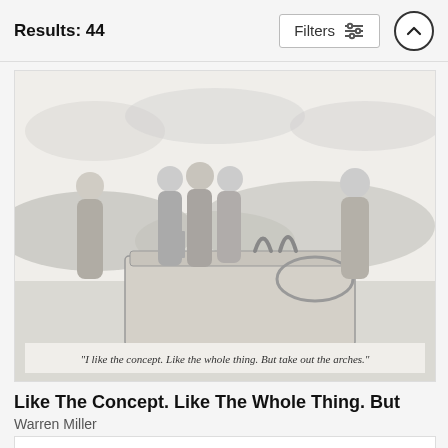Results: 44
[Figure (illustration): A New Yorker style black and white cartoon showing robed figures (monks or ancient people) standing around a flat stone slab that has small architectural elements on it resembling a scale model of Stonehenge. Caption reads: 'I like the concept. Like the whole thing. But take out the arches.']
"I like the concept. Like the whole thing. But take out the arches."
Like The Concept. Like The Whole Thing. But
Warren Miller
$100